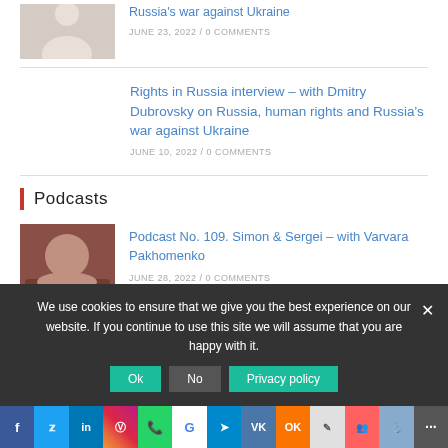[Figure (photo): Partial thumbnail photo of a person in white]
Russia's war against Ukraine
JUNE 23, 2022 / 0 COMMENTS
Rights in Russia interview – with Dmitry Dubrovsky on Russia, human rights and Russia's war against Ukraine
JUNE 10, 2022 / 0 COMMENTS
Podcasts
[Figure (photo): Photo of a woman with short brown hair wearing a dark top]
Podcast No. 109. Simon & Sergei – with Varvara Pakhomenko
JUNE 28, 2022 / 0 COMMENTS
We use cookies to ensure that we give you the best experience on our website. If you continue to use this site we will assume that you are happy with it.
f | Twitter | in | Instagram | WhatsApp | G | Telegram | VK | OK | Pinterest | Yummly | More